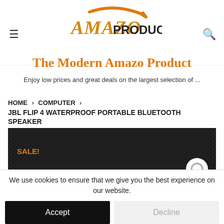[Figure (logo): AmazoProduct logo with orange arrow swoosh above text]
The Modern Amazo Product
Enjoy low prices and great deals on the largest selection of ...
HOME › COMPUTER › JBL FLIP 4 WATERPROOF PORTABLE BLUETOOTH SPEAKER
[Figure (photo): Close-up of black fabric/mesh texture with SALE! badge in orange and a circular icon on the right]
We use cookies to ensure that we give you the best experience on our website.